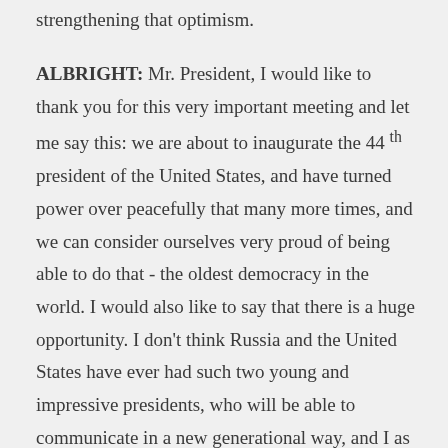strengthening that optimism.
ALBRIGHT: Mr. President, I would like to thank you for this very important meeting and let me say this: we are about to inaugurate the 44th president of the United States, and have turned power over peacefully that many more times, and we can consider ourselves very proud of being able to do that - the oldest democracy in the world. I would also like to say that there is a huge opportunity. I don't think Russia and the United States have ever had such two young and impressive presidents, who will be able to communicate in a new generational way, and I as the old lady here would like to wish you all the best of luck.